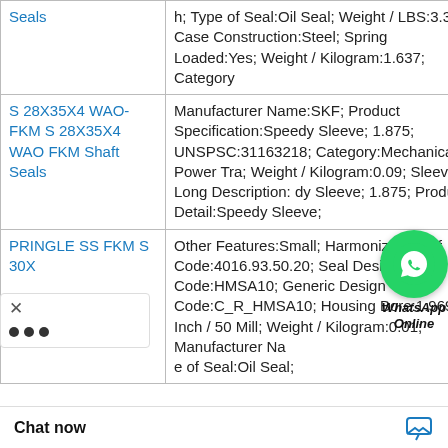| Product | Description |
| --- | --- |
| Seals | h; Type of Seal:Oil Seal; Weight / LBS:3.373; Case Construction:Steel; Spring Loaded:Yes; Weight / Kilogram:1.637; Category |
| S 28X35X4 WAO-FKM S 28X35X4 WAO FKM Shaft Seals | Manufacturer Name:SKF; Product Specification:Speedy Sleeve; 1.875; UNSPSC:31163218; Category:Mechanical Power Tra; Weight / Kilogram:0.09; Sleeve; Long Description: dy Sleeve; 1.875; Product Detail:Speedy Sleeve; |
| PRINGLE SS FKM S 30X | Other Features:Small; Harmonized Tariff Code:4016.93.50.20; Seal Design Code:HMSA10; Generic Design Code:C_R_HMSA10; Housing Bore:1.969 Inch / 50 Mill; Weight / Kilogram:0.01; Manufacturer Na; Type of Seal:Oil Seal; |
[Figure (other): WhatsApp Online floating button overlay]
[Figure (other): Close popup with dots menu and chat now bar]
Chat now